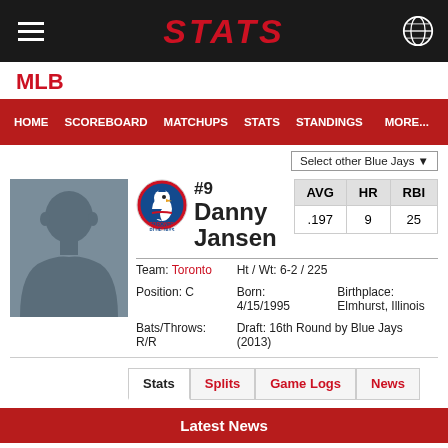STATS
MLB
HOME  SCOREBOARD  MATCHUPS  STATS  STANDINGS  MORE...
Select other Blue Jays
#9 Danny Jansen
| AVG | HR | RBI |
| --- | --- | --- |
| .197 | 9 | 25 |
Team: Toronto  Ht / Wt: 6-2 / 225  Position: C  Born: 4/15/1995  Birthplace: Elmhurst, Illinois  Bats/Throws: R/R  Draft: 16th Round by Blue Jays (2013)
Stats  Splits  Game Logs  News
Latest News